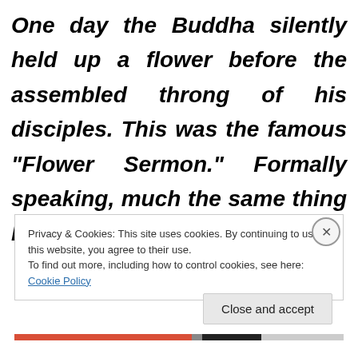One day the Buddha silently held up a flower before the assembled throng of his disciples. This was the famous “Flower Sermon.” Formally speaking, much the same thing happened in
Privacy & Cookies: This site uses cookies. By continuing to use this website, you agree to their use.
To find out more, including how to control cookies, see here: Cookie Policy
Close and accept